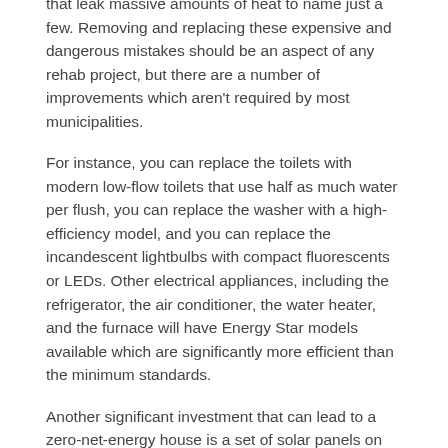that leak massive amounts of heat to name just a few. Removing and replacing these expensive and dangerous mistakes should be an aspect of any rehab project, but there are a number of improvements which aren't required by most municipalities.
For instance, you can replace the toilets with modern low-flow toilets that use half as much water per flush, you can replace the washer with a high-efficiency model, and you can replace the incandescent lightbulbs with compact fluorescents or LEDs. Other electrical appliances, including the refrigerator, the air conditioner, the water heater, and the furnace will have Energy Star models available which are significantly more efficient than the minimum standards.
Another significant investment that can lead to a zero-net-energy house is a set of solar panels on the